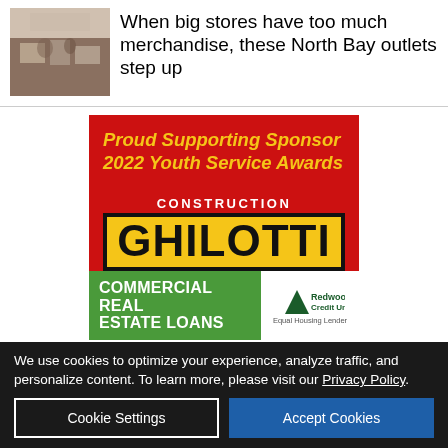[Figure (photo): People at a sale or outlet event inside a large building]
When big stores have too much merchandise, these North Bay outlets step up
[Figure (infographic): Advertisement for Ghilotti Construction as Proud Supporting Sponsor of 2022 Youth Service Awards, with Redwood Credit Union Commercial Real Estate Loans banner]
We use cookies to optimize your experience, analyze traffic, and personalize content. To learn more, please visit our Privacy Policy.
Cookie Settings
Accept Cookies